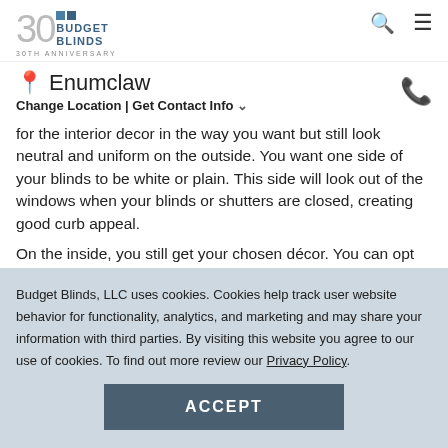Budget Blinds 30th Anniversary
Enumclaw
Change Location | Get Contact Info
for the interior decor in the way you want but still look neutral and uniform on the outside. You want one side of your blinds to be white or plain. This side will look out of the windows when your blinds or shutters are closed, creating good curb appeal.
On the inside, you still get your chosen décor. You can opt for neutral colors everywhere if you want on the side
Budget Blinds, LLC uses cookies. Cookies help track user website behavior for functionality, analytics, and marketing and may share your information with third parties. By visiting this website you agree to our use of cookies. To find out more review our Privacy Policy.